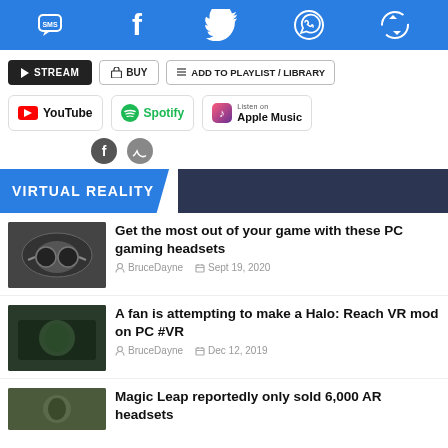Social sharing bar with SMS, Facebook, Twitter, WhatsApp, and share icons
[Figure (screenshot): Action buttons: STREAM, BUY, ADD TO PLAYLIST / LIBRARY]
[Figure (screenshot): Streaming service logos: YouTube, Spotify, Listen on Apple Music]
VIRTUAL REALITY
[Figure (photo): PC gaming headset thumbnail]
Get the most out of your game with these PC gaming headsets
BruceDayne  Sept 19, 2020
[Figure (photo): Halo Reach VR mod thumbnail]
A fan is attempting to make a Halo: Reach VR mod on PC #VR
BruceDayne  Dec 12, 2019
[Figure (photo): Magic Leap AR headset thumbnail]
Magic Leap reportedly only sold 6,000 AR headsets